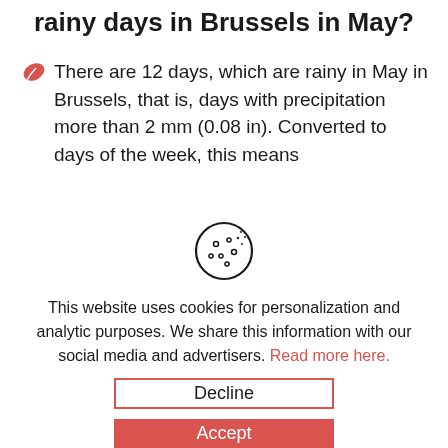rainy days in Brussels in May?
There are 12 days, which are rainy in May in Brussels, that is, days with precipitation more than 2 mm (0.08 in). Converted to days of the week, this means
[Figure (illustration): Cookie icon — a round cookie with chocolate chips dots, drawn in outline style]
This website uses cookies for personalization and analytic purposes. We share this information with our social media and advertisers. Read more here.
Decline
Accept